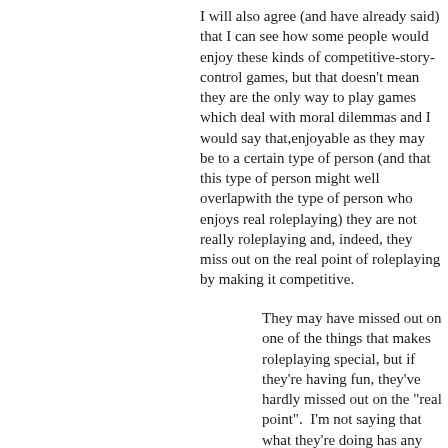I will also agree (and have already said) that I can see how some people would enjoy these kinds of competitive-story-control games, but that doesn't mean they are the only way to play games which deal with moral dilemmas and I would say that,enjoyable as they may be to a certain type of person (and that this type of person might well overlapwith the type of person who enjoys real roleplaying) they are not really roleplaying and, indeed, they miss out on the real point of roleplaying by making it competitive.
They may have missed out on one of the things that makes roleplaying special, but if they're having fun, they've hardly missed out on the "real point".  I'm not saying that what they're doing has any further value, nor that it does